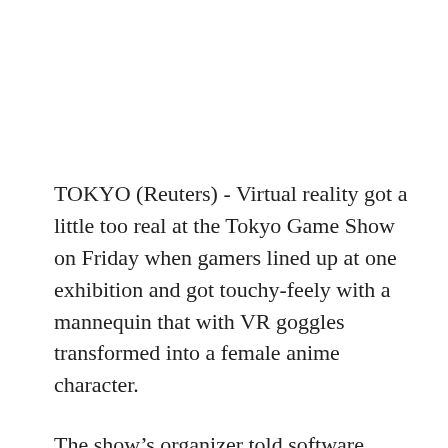TOKYO (Reuters) - Virtual reality got a little too real at the Tokyo Game Show on Friday when gamers lined up at one exhibition and got touchy-feely with a mannequin that with VR goggles transformed into a female anime character.
The show’s organizer told software developer M2 Co. to stop visitors fondling the dummy’s breasts, which with built-in sensors prompted the anime image in the goggles to move.